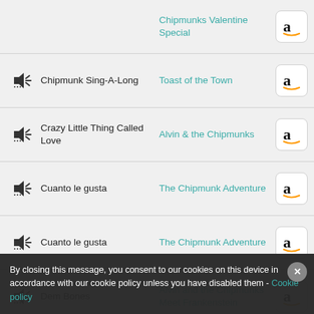Chipmunks Valentine Special
Chipmunk Sing-A-Long | Toast of the Town
Crazy Little Thing Called Love | Alvin & the Chipmunks
Cuanto le gusta | The Chipmunk Adventure
Cuanto le gusta | The Chipmunk Adventure
Dem Bones | Alvin and the Chipmunks Meet Frankenstein
Everybody's Gonna Be Alright | Alvin and the Chipmunks Meet the Wolfman
Get Munk'd | Alvin and the ...
By closing this message, you consent to our cookies on this device in accordance with our cookie policy unless you have disabled them - Cookie policy